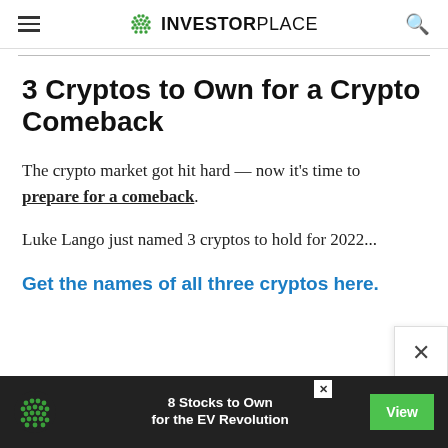INVESTORPLACE
3 Cryptos to Own for a Crypto Comeback
The crypto market got hit hard — now it's time to prepare for a comeback.
Luke Lango just named 3 cryptos to hold for 2022...
Get the names of all three cryptos here.
[Figure (screenshot): Bottom advertisement banner: dark background with InvestorPlace logo, text '8 Stocks to Own for the EV Revolution', and a green 'View' button]